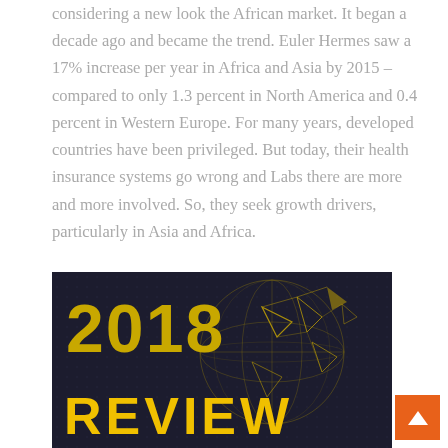considering a new look the African market. It began a decade ago and became the trend. Euler Hermes saw a 17% increase per year in Africa and Asia by 2015 – compared to only 1.3 percent in North America and 0.4 percent in Western Europe. For many years, developed countries have been privileged. But today, their health insurance systems go wrong and Labs there are more and more involved. So, they seek growth drivers, particularly in Asia and Africa.
[Figure (illustration): Dark navy background image with yellow/gold '2018' text in large bold font at top left, and 'REVIEW' in large bold yellow font at bottom. A golden wireframe globe with geometric triangular network lines and shapes decorates the right portion of the image.]